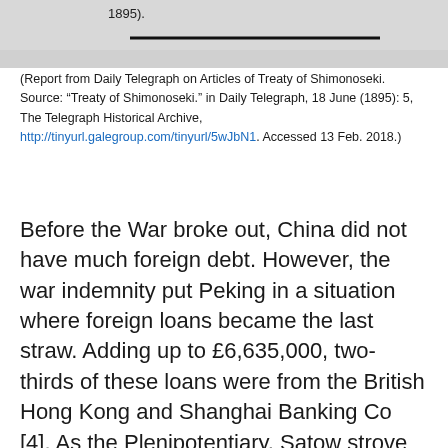[Figure (photo): Scanned document page fragment showing text ending with '1895).' and a dark horizontal line below it, on a grey background.]
(Report from Daily Telegraph on Articles of Treaty of Shimonoseki. Source: “Treaty of Shimonoseki.” in Daily Telegraph, 18 June (1895): 5, The Telegraph Historical Archive, http://tinyurl.galegroup.com/tinyurl/5wJbN1. Accessed 13 Feb. 2018.)
Before the War broke out, China did not have much foreign debt. However, the war indemnity put Peking in a situation where foreign loans became the last straw. Adding up to £6,635,000, two-thirds of these loans were from the British Hong Kong and Shanghai Banking Co [4]. As the Plenipotentiary, Satow strove to persuade London and Tokyo to grant the loans with an agreeable rate to China so that the interests of both countries could be guaranteed. This can be seen in the following excerpts from